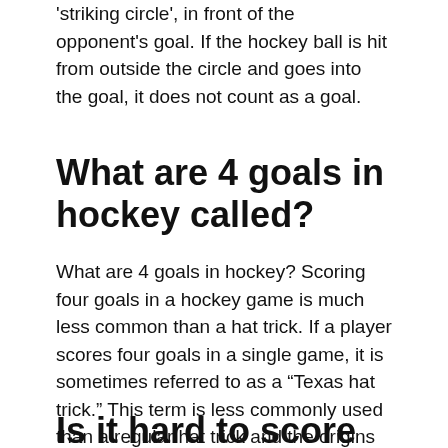'striking circle', in front of the opponent's goal. If the hockey ball is hit from outside the circle and goes into the goal, it does not count as a goal.
What are 4 goals in hockey called?
What are 4 goals in hockey? Scoring four goals in a hockey game is much less common than a hat trick. If a player scores four goals in a single game, it is sometimes referred to as a “Texas hat trick.” This term is less commonly used than a regular hat trick and the origins of it are uncertain.
Is it hard to score in field hockey?